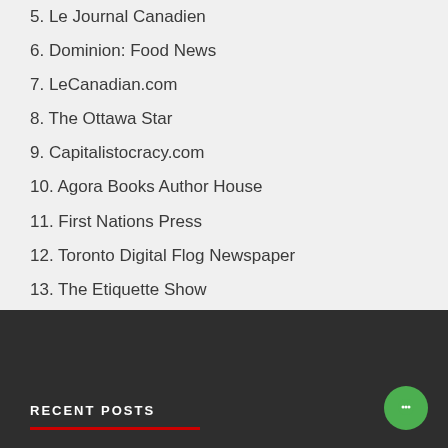5. Le Journal Canadien
6. Dominion: Food News
7. LeCanadian.com
8. The Ottawa Star
9. Capitalistocracy.com
10. Agora Books Author House
11. First Nations Press
12. Toronto Digital Flog Newspaper
13. The Etiquette Show
14. Ontario People's Front
RECENT POSTS